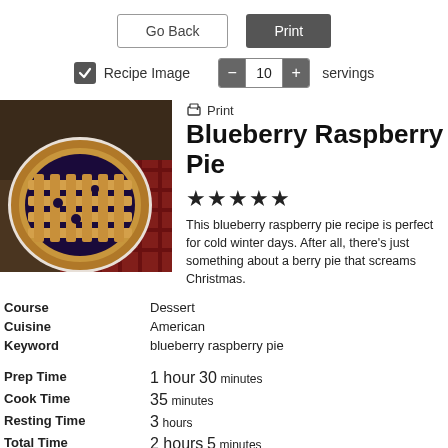Go Back | Print (buttons)
Recipe Image checkbox, 10 servings control
[Figure (photo): Overhead photo of a blueberry raspberry lattice pie on a plate with a red plaid cloth]
Blueberry Raspberry Pie
★★★★★
This blueberry raspberry pie recipe is perfect for cold winter days. After all, there's just something about a berry pie that screams Christmas.
| Course | Dessert |
| Cuisine | American |
| Keyword | blueberry raspberry pie |
|  |  |
| Prep Time | 1 hour 30 minutes |
| Cook Time | 35 minutes |
| Resting Time | 3 hours |
| Total Time | 2 hours 5 minutes |